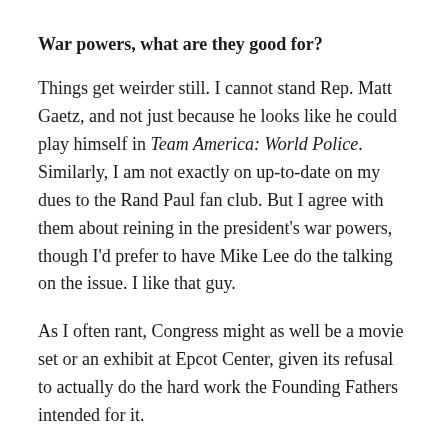War powers, what are they good for?
Things get weirder still. I cannot stand Rep. Matt Gaetz, and not just because he looks like he could play himself in Team America: World Police. Similarly, I am not exactly on up-to-date on my dues to the Rand Paul fan club. But I agree with them about reining in the president's war powers, though I'd prefer to have Mike Lee do the talking on the issue. I like that guy.
As I often rant, Congress might as well be a movie set or an exhibit at Epcot Center, given its refusal to actually do the hard work the Founding Fathers intended for it.
Some quick background: First there was a thick primordial stew covering much of the surface of the